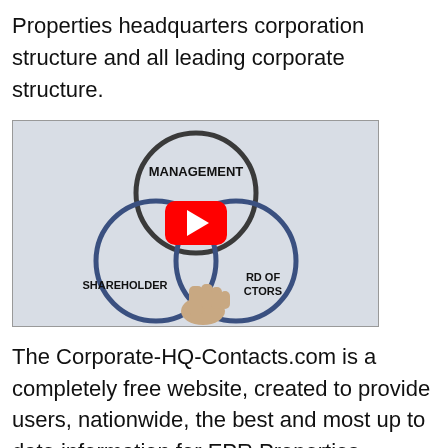Properties headquarters corporation structure and all leading corporate structure.
[Figure (illustration): YouTube video thumbnail showing a Venn diagram with three overlapping circles labeled MANAGEMENT (top, dark outline), SHAREHOLDERS (bottom-left, blue outline), and BOARD OF DIRECTORS (bottom-right, blue outline). A hand points at the center. A red YouTube play button is overlaid in the center.]
The Corporate-HQ-Contacts.com is a completely free website, created to provide users, nationwide, the best and most up to date information for EPR Properties